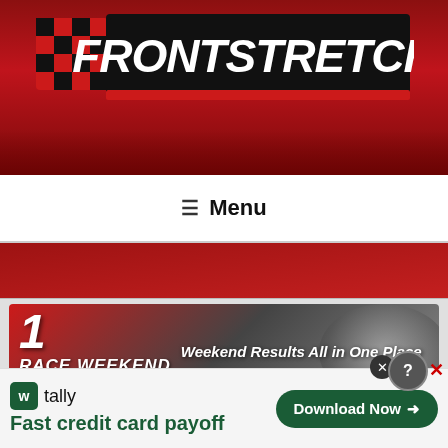[Figure (logo): Frontstretch website header with logo on red background with crowd imagery]
☰ Menu
[Figure (illustration): Red banner with crowd/racetrack background]
[Figure (illustration): Race Weekend Central banner ad - Weekend Results All in One Place]
[Figure (illustration): Partial article title area beginning to appear]
[Figure (advertisement): Tally app ad - Fast credit card payoff with Download Now button]